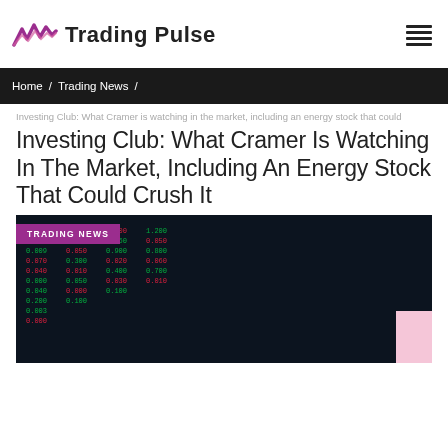Trading Pulse
Home / Trading News /
Investing Club: What Cramer is watching in the market, including an energy stock that could
Investing Club: What Cramer Is Watching In The Market, Including An Energy Stock That Could Crush It
[Figure (photo): Stock market ticker board with red and green numbers, overlaid with a 'TRADING NEWS' badge in purple]